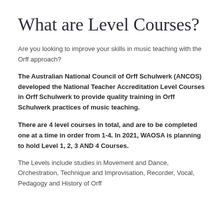What are Level Courses?
Are you looking to improve your skills in music teaching with the Orff approach?
The Australian National Council of Orff Schulwerk (ANCOS) developed the National Teacher Accreditation Level Courses in Orff Schulwerk to provide quality training in Orff Schulwerk practices of music teaching.
There are 4 level courses in total, and are to be completed one at a time in order from 1-4. In 2021, WAOSA is planning to hold Level 1, 2, 3 AND 4 Courses.
The Levels include studies in Movement and Dance, Orchestration, Technique and Improvisation, Recorder, Vocal, Pedagogy and History of Orff